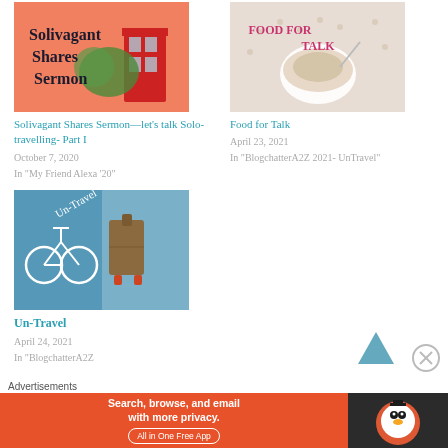[Figure (photo): Book cover image: orange/salmon background with bold text 'Solivagant Shares Sermon' and a red phone box]
Solivagant Shares Sermon—let's talk Solo-travelling- Part I
October 7, 2020
In "My Friend Alexa '20"
[Figure (photo): Food blog image with 'FOOD FOR TALK' text overlay, showing a bowl and world map dots pattern]
Food for Talk
April 23, 2021
In "BlogchatterA2Z 2021- UnTravel"
[Figure (photo): Un-Travel blog thumbnail with bicycle icon on blue background and luggage on right side]
Un-Travel
April 24, 2021
In "BlogchatterA2Z
[Figure (illustration): Upward-pointing chevron/arrow in teal blue for scroll to top]
[Figure (illustration): Circle X close button icon]
Advertisements
[Figure (screenshot): DuckDuckGo advertisement banner: orange left panel with text 'Search, browse, and email with more privacy. All in One Free App' and dark right panel with DuckDuckGo duck logo]